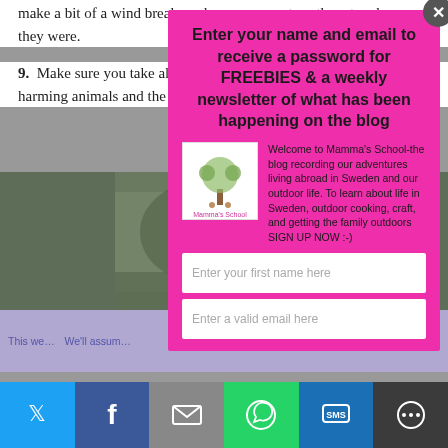make a bit of a wind break, make sure you return them to where they were.
9. Make sure you take all your rubbish home again, to avoid harming animals and the countryside.
[Figure (photo): Outdoor nature photo strip showing greenery/trees]
[Figure (infographic): Pink popup modal with title 'Enter your name and email to receive a password for FREEBIES & a weekly newsletter of what has been happening on the blog', a logo and description for Mamma's School blog, and two input fields for first name and email.]
This we... We'll assum... ...wish
[Figure (infographic): Social share bar with Twitter, Facebook, Email, WhatsApp, SMS, and More buttons]